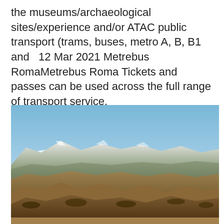the museums/archaeological sites/experience and/or ATAC public transport (trams, buses, metro A, B, B1 and   12 Mar 2021 Metrebus RomaMetrebus Roma Tickets and passes can be used across the full range of transport service. Ostermans bozeman
[Figure (photo): Landscape photograph of rolling brown hills and dry terrain under a clear blue sky, with snow-capped mountains visible in the far background and a small cloud on the left.]